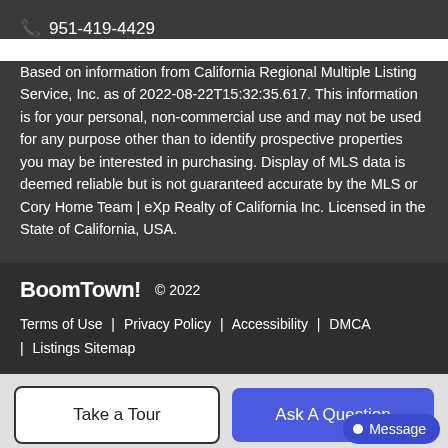📞 951-419-4429
Based on information from California Regional Multiple Listing Service, Inc. as of 2022-08-22T15:32:35.617. This information is for your personal, non-commercial use and may not be used for any purpose other than to identify prospective properties you may be interested in purchasing. Display of MLS data is deemed reliable but is not guaranteed accurate by the MLS or Cory Home Team | eXp Realty of California Inc. Licensed in the State of California, USA.
BoomTown! © 2022
Terms of Use | Privacy Policy | Accessibility | DMCA | Listings Sitemap
Take a Tour
Ask A Question
Message